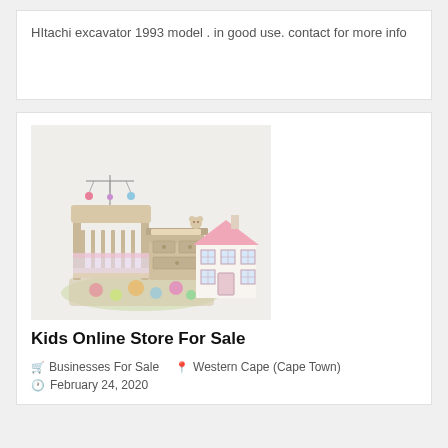HItachi excavator 1993 model . in good use. contact for more info
[Figure (photo): Baby/kids nursery furniture set including a white wooden crib with canopy mobile, a changing table, storage chest, colorful floral rug, and a pink dollhouse]
Kids Online Store For Sale
🛒 Businesses For Sale   📍 Western Cape (Cape Town)
🕐 February 24, 2020